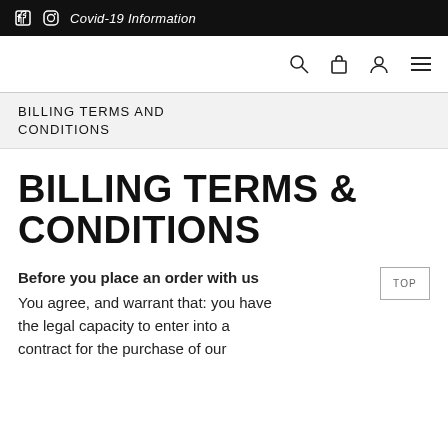Covid-19 Information
BILLING TERMS AND CONDITIONS
BILLING TERMS & CONDITIONS
Before you place an order with us You agree, and warrant that: you have the legal capacity to enter into a contract for the purchase of our